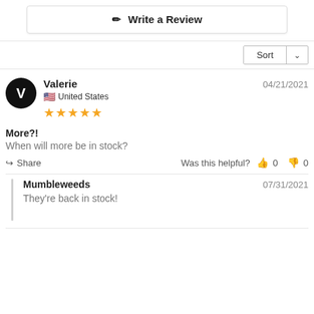✎ Write a Review
Sort
Valerie
United States
★★★★★
04/21/2021
More?!
When will more be in stock?
Share  Was this helpful?  👍 0  👎 0
Mumbleweeds
07/31/2021
They're back in stock!